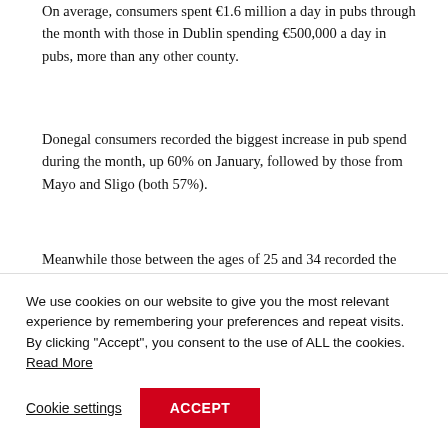On average, consumers spent €1.6 million a day in pubs through the month with those in Dublin spending €500,000 a day in pubs, more than any other county.
Donegal consumers recorded the biggest increase in pub spend during the month, up 60% on January, followed by those from Mayo and Sligo (both 57%).
Meanwhile those between the ages of 25 and 34 recorded the biggest spending increase nationally when broken out by age as people started to [continues below overlay]
We use cookies on our website to give you the most relevant experience by remembering your preferences and repeat visits. By clicking "Accept", you consent to the use of ALL the cookies. Read More
Cookie settings | ACCEPT